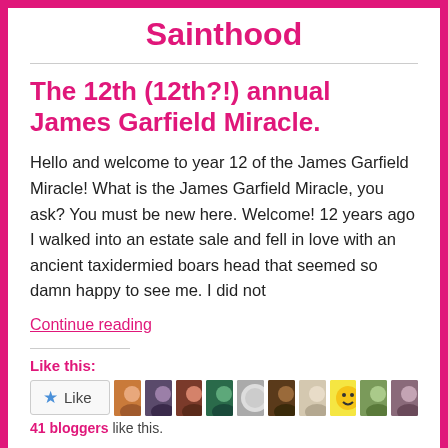Sainthood
The 12th (12th?!) annual James Garfield Miracle.
Hello and welcome to year 12 of the James Garfield Miracle! What is the James Garfield Miracle, you ask? You must be new here. Welcome! 12 years ago I walked into an estate sale and fell in love with an ancient taxidermied boars head that seemed so damn happy to see me. I did not
Continue reading
Like this:
41 bloggers like this.